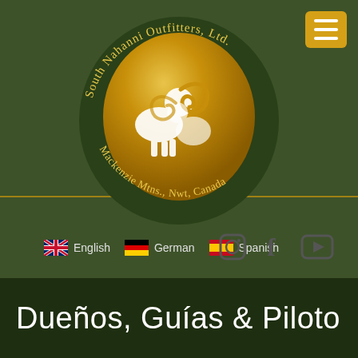[Figure (logo): South Nahanni Outfitters Ltd. circular logo with golden oval center featuring two bighorn sheep silhouettes in white, dark green border with company name text, and subtitle 'Mackenzie Mtns., Nwt, Canada']
English   German   Spanish
[Figure (other): Social media icons: Instagram, Facebook, YouTube]
Dueños, Guías & Piloto